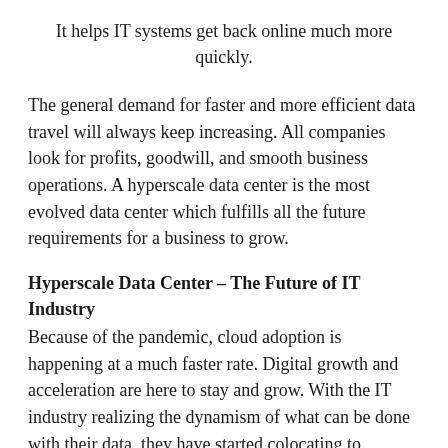It helps IT systems get back online much more quickly.
The general demand for faster and more efficient data travel will always keep increasing. All companies look for profits, goodwill, and smooth business operations. A hyperscale data center is the most evolved data center which fulfills all the future requirements for a business to grow.
Hyperscale Data Center – The Future of IT Industry
Because of the pandemic, cloud adoption is happening at a much faster rate. Digital growth and acceleration are here to stay and grow. With the IT industry realizing the dynamism of what can be done with their data, they have started colocating to hyperscale data centers to aid better data management. These have become the top priority for businesses across the globe to handle their IT infrastructure requirements. Realizing the need for an efficient data center to reduce barriers for the customers, higher margins, data storage and management, higher security,